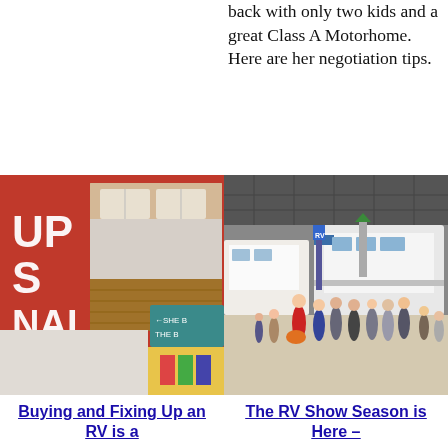back with only two kids and a great Class A Motorhome. Here are her negotiation tips.
[Figure (photo): Collage image showing RV interior kitchen with wood countertop and white cabinets, overlaid with partial text on red background reading 'UP S NAL' and website url 'ving.com']
[Figure (photo): RV show floor with crowds of people walking among large RVs and display banners in an indoor convention hall]
Buying and Fixing Up an RV is a
The RV Show Season is Here –